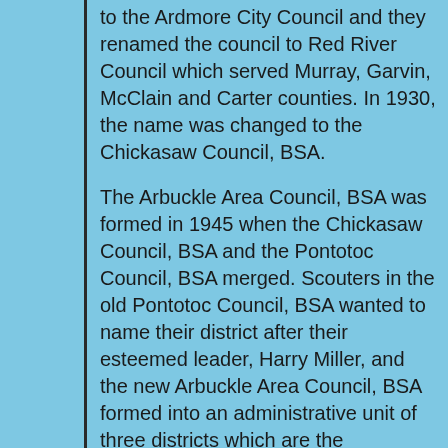to the Ardmore City Council and they renamed the council to Red River Council which served Murray, Garvin, McClain and Carter counties. In 1930, the name was changed to the Chickasaw Council, BSA.
The Arbuckle Area Council, BSA was formed in 1945 when the Chickasaw Council, BSA and the Pontotoc Council, BSA merged. Scouters in the old Pontotoc Council, BSA wanted to name their district after their esteemed leader, Harry Miller, and the new Arbuckle Area Council, BSA formed into an administrative unit of three districts which are the Chickasaw District, the Harry Miller District, and the Washita District–each of which still exists as an active District in